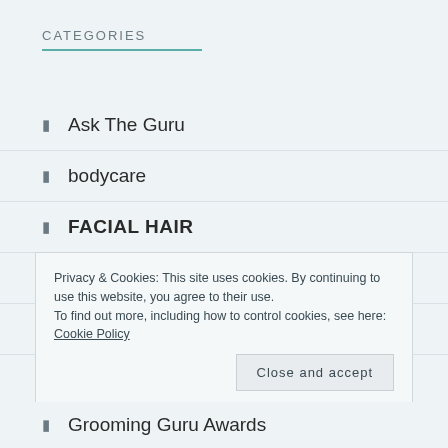CATEGORIES
Ask The Guru
bodycare
FACIAL HAIR
FACIAL HAIRCARE
Favourite products
Privacy & Cookies: This site uses cookies. By continuing to use this website, you agree to their use.
To find out more, including how to control cookies, see here: Cookie Policy
Grooming Guru Awards